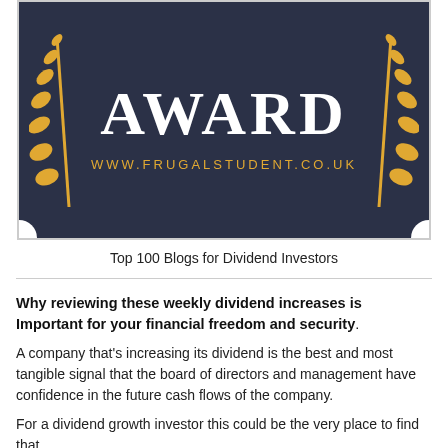[Figure (illustration): Award badge with dark navy background, large 'AWARD' text in white serif font, golden wheat/laurel branches on left and right, and URL 'WWW.FRUGALSTUDENT.CO.UK' in gold letters at the bottom. Two white circular cutouts at bottom corners.]
Top 100 Blogs for Dividend Investors
Why reviewing these weekly dividend increases is Important for your financial freedom and security.
A company that's increasing its dividend is the best and most tangible signal that the board of directors and management have confidence in the future cash flows of the company.
For a dividend growth investor this could be the very place to find that